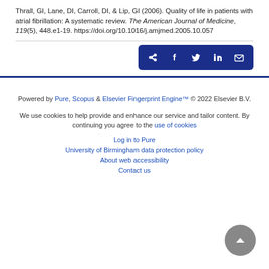Thrall, GI, Lane, DI, Carroll, DI, & Lip, GI (2006). Quality of life in patients with atrial fibrillation: A systematic review. The American Journal of Medicine, 119(5), 448.e1-19. https://doi.org/10.1016/j.amjmed.2005.10.057
[Figure (other): Share buttons bar with dark blue background containing icons for share, Facebook, Twitter, LinkedIn, and email]
Powered by Pure, Scopus & Elsevier Fingerprint Engine™ © 2022 Elsevier B.V.
We use cookies to help provide and enhance our service and tailor content. By continuing you agree to the use of cookies
Log in to Pure
University of Birmingham data protection policy
About web accessibility
Contact us